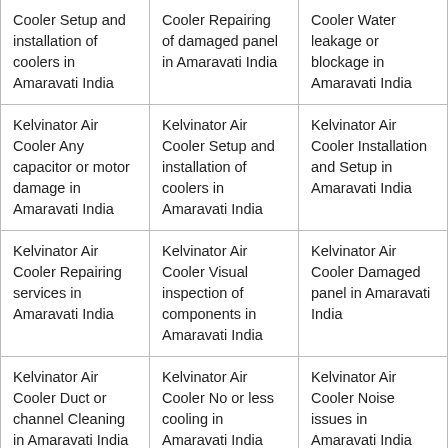| Cooler Setup and installation of coolers in Amaravati India | Cooler Repairing of damaged panel in Amaravati India | Cooler Water leakage or blockage in Amaravati India |
| Kelvinator Air Cooler Any capacitor or motor damage in Amaravati India | Kelvinator Air Cooler Setup and installation of coolers in Amaravati India | Kelvinator Air Cooler Installation and Setup in Amaravati India |
| Kelvinator Air Cooler Repairing services in Amaravati India | Kelvinator Air Cooler Visual inspection of components in Amaravati India | Kelvinator Air Cooler Damaged panel in Amaravati India |
| Kelvinator Air Cooler Duct or channel Cleaning in Amaravati India | Kelvinator Air Cooler No or less cooling in Amaravati India | Kelvinator Air Cooler Noise issues in Amaravati India |